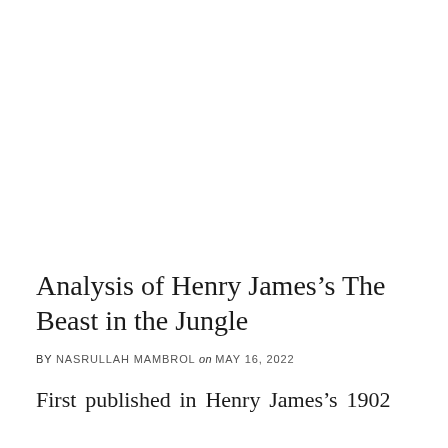Analysis of Henry James’s The Beast in the Jungle
BY NASRULLAH MAMBROL on MAY 16, 2022
First published in Henry James’s 1902